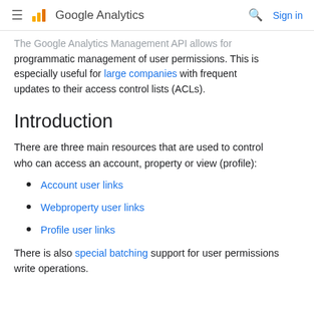Google Analytics | Sign in
The Google Analytics Management API allows for programmatic management of user permissions. This is especially useful for large companies with frequent updates to their access control lists (ACLs).
Introduction
There are three main resources that are used to control who can access an account, property or view (profile):
Account user links
Webproperty user links
Profile user links
There is also special batching support for user permissions write operations.